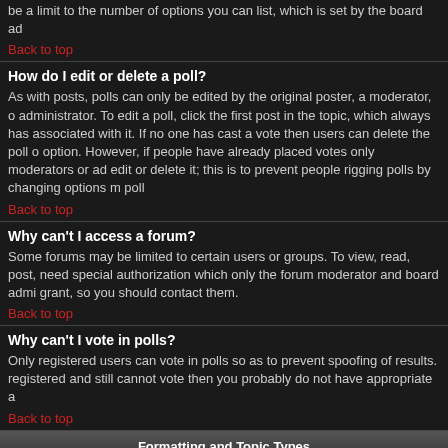be a limit to the number of options you can list, which is set by the board ad
Back to top
How do I edit or delete a poll?
As with posts, polls can only be edited by the original poster, a moderator, or administrator. To edit a poll, click the first post in the topic, which always has associated with it. If no one has cast a vote then users can delete the poll option. However, if people have already placed votes only moderators or admins can edit or delete it; this is to prevent people rigging polls by changing options mid-poll
Back to top
Why can't I access a forum?
Some forums may be limited to certain users or groups. To view, read, post, need special authorization which only the forum moderator and board admin grant, so you should contact them.
Back to top
Why can't I vote in polls?
Only registered users can vote in polls so as to prevent spoofing of results. If registered and still cannot vote then you probably do not have appropriate a
Back to top
Formatting and Topic Types
What is BBCode?
BBCode is a special implementation of HTML. Whether you can use BBCode by the administrator. You can also disable it on a per post basis from the po BBCode itself is similar in style to HTML: tags are enclosed in square braces than < and > and it offers greater control over what and how something i